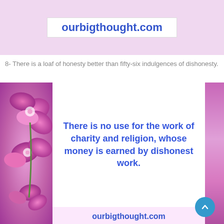ourbigthought.com
8- There is a loaf of honesty better than fifty-six indulgences of dishonesty.
[Figure (illustration): Motivational quote image with pink orchid flowers on the left side against a pink/purple background. White box in center contains blue text: 'There is no use for the work of charity and religion, whose money is earned by dishonest work.' Bottom shows ourbigthought.com in blue text.]